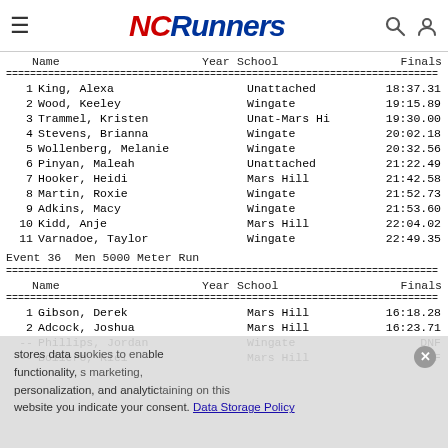NCRunners
| Name | Year | School | Finals |
| --- | --- | --- | --- |
| 1 | King, Alexa |  | Unattached | 18:37.31 |
| 2 | Wood, Keeley |  | Wingate | 19:15.89 |
| 3 | Trammel, Kristen |  | Unat-Mars Hi | 19:30.00 |
| 4 | Stevens, Brianna |  | Wingate | 20:02.18 |
| 5 | Wollenberg, Melanie |  | Wingate | 20:32.56 |
| 6 | Pinyan, Maleah |  | Unattached | 21:22.49 |
| 7 | Hooker, Heidi |  | Mars Hill | 21:42.58 |
| 8 | Martin, Roxie |  | Wingate | 21:52.73 |
| 9 | Adkins, Macy |  | Wingate | 21:53.60 |
| 10 | Kidd, Anje |  | Mars Hill | 22:04.02 |
| 11 | Varnadoe, Taylor |  | Wingate | 22:49.35 |
Event 36  Men 5000 Meter Run
| Name | Year | School | Finals |
| --- | --- | --- | --- |
| 1 | Gibson, Derek |  | Mars Hill | 16:18.28 |
| 2 | Adcock, Joshua |  | Mars Hill | 16:23.71 |
| -- | Phillips, Jordan |  | Wingate | DNF |
| -- | Bollero, Kiel |  | Mars Hill | DNF |